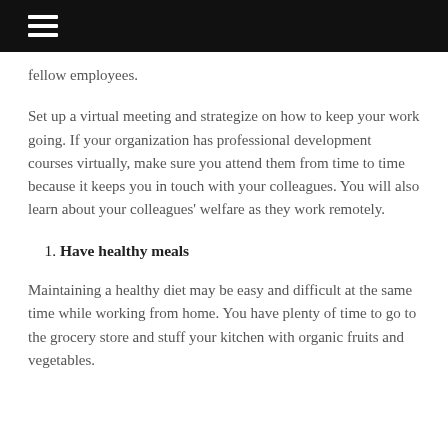☰
fellow employees.
Set up a virtual meeting and strategize on how to keep your work going. If your organization has professional development courses virtually, make sure you attend them from time to time because it keeps you in touch with your colleagues. You will also learn about your colleagues' welfare as they work remotely.
Have healthy meals
Maintaining a healthy diet may be easy and difficult at the same time while working from home. You have plenty of time to go to the grocery store and stuff your kitchen with organic fruits and vegetables.